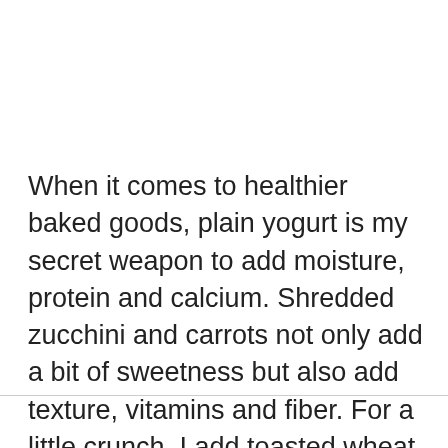When it comes to healthier baked goods, plain yogurt is my secret weapon to add moisture, protein and calcium. Shredded zucchini and carrots not only add a bit of sweetness but also add texture, vitamins and fiber. For a little crunch, I add toasted wheat germ which fills the bread with minerals and nutrients.